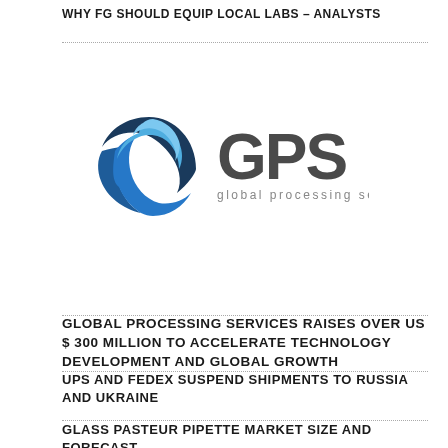WHY FG SHOULD EQUIP LOCAL LABS – ANALYSTS
[Figure (logo): GPS Global Processing Services logo — blue swirl globe icon on left, bold gray 'GPS' text on right, subtitle 'global processing services' below]
GLOBAL PROCESSING SERVICES RAISES OVER US $ 300 MILLION TO ACCELERATE TECHNOLOGY DEVELOPMENT AND GLOBAL GROWTH
UPS AND FEDEX SUSPEND SHIPMENTS TO RUSSIA AND UKRAINE
GLASS PASTEUR PIPETTE MARKET SIZE AND FORECAST